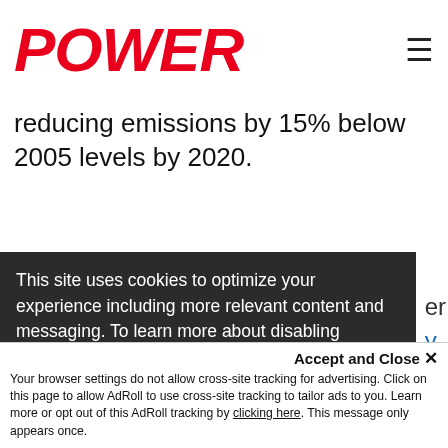POWER
reducing emissions by 15% below 2005 levels by 2020.
This site uses cookies to optimize your experience including more relevant content and messaging. To learn more about disabling cookies in your browser, click here.  By continuing to use this site, you accept our use of cookies. For more information, view our updated Privacy Policy.
I consent
Accept and Close ✕
Your browser settings do not allow cross-site tracking for advertising. Click on this page to allow AdRoll to use cross-site tracking to tailor ads to you. Learn more or opt out of this AdRoll tracking by clicking here. This message only appears once.